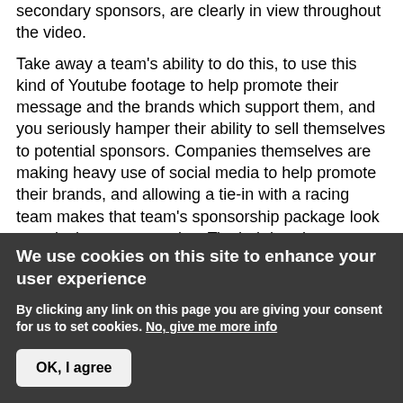secondary sponsors, are clearly in view throughout the video.
Take away a team's ability to do this, to use this kind of Youtube footage to help promote their message and the brands which support them, and you seriously hamper their ability to sell themselves to potential sponsors. Companies themselves are making heavy use of social media to help promote their brands, and allowing a tie-in with a racing team makes that team's sponsorship package look massively more attractive. Tie their hands - or at least, tie them unreasonably - and you limit their ability to raise sponsorship. When teams fail to raise revenues for themselves, they have to go cap-in-hand to
We use cookies on this site to enhance your user experience
By clicking any link on this page you are giving your consent for us to set cookies. No, give me more info
OK, I agree